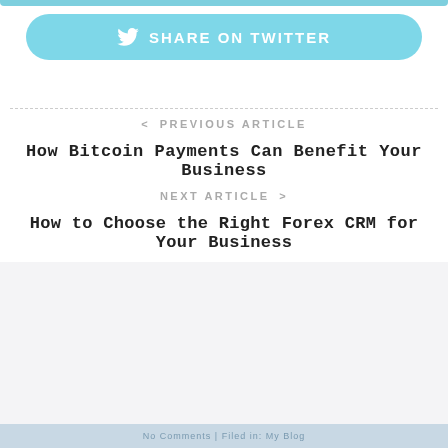[Figure (other): Share on Twitter button with Twitter bird icon, light blue rounded rectangle]
< PREVIOUS ARTICLE
How Bitcoin Payments Can Benefit Your Business
NEXT ARTICLE >
How to Choose the Right Forex CRM for Your Business
AMY REY
Lifelovesu2@gmail.com